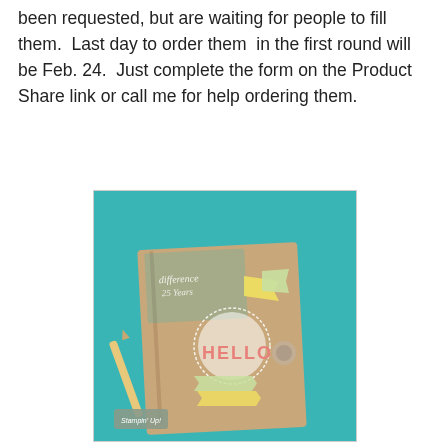been requested, but are waiting for people to fill them.  Last day to order them  in the first round will be Feb. 24.  Just complete the form on the Product Share link or call me for help ordering them.
[Figure (photo): A crafted notebook/journal with decorative stamped embellishments including banners, doilies, and the word HELLO in pink, placed on a teal background with a pencil. A Stampin' Up! logo is visible in the lower left corner.]
Stamps:  Oh, Hello (w130730; c130733); Baby Boutique (w126350; c126352); Itty Bitties (w128939)
Teeny Tiny Wishes (w115370; c127802)
Paper:  Crumb Cake (120953), Midnight Muse (126843), Primrose Petals (126841), Pool Party (122924) and Very